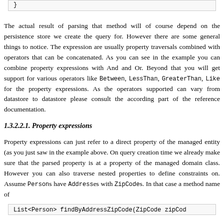[Figure (screenshot): Code box showing closing brace '}']
The actual result of parsing that method will of course depend on the persistence store we create the query for. However there are some general things to notice. The expression are usually property traversals combined with operators that can be concatenated. As you can see in the example you can combine property expressions with And and Or. Beyond that you will get support for various operators like Between, LessThan, GreaterThan, Like for the property expressions. As the operators supported can vary from datastore to datastore please consult the according part of the reference documentation.
1.3.2.2.1. Property expressions
Property expressions can just refer to a direct property of the managed entity (as you just saw in the example above. On query creation time we already make sure that the parsed property is at a property of the managed domain class. However you can also traverse nested properties to define constraints on. Assume Persons have Addresses with ZipCodes. In that case a method name of
[Figure (screenshot): Code box showing: List<Person> findByAddressZipCode(ZipCode zipCod]